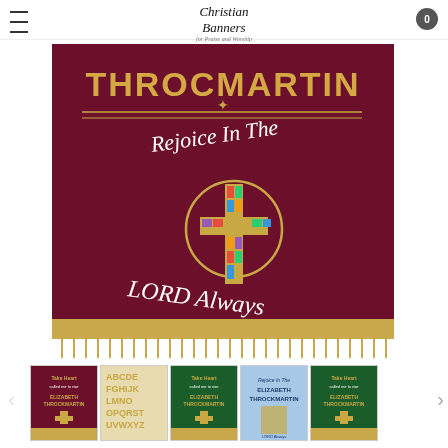Christian Banners for Praise and Worship
[Figure (photo): A maroon/burgundy church banner reading 'THROCMARTIN' at top in gold letters, with ornamental gold divider, italic white text 'Rejoice In The' and 'LORD Always' curved around a gold Celtic cross with colorful stained-glass mosaic center, with gold fringe at bottom.]
[Figure (photo): Thumbnail 1: Small burgundy church banner similar to main image, portrait orientation.]
[Figure (photo): Thumbnail 2: Gold/tan alphabet letters arranged in rows showing A-Z lettering samples.]
[Figure (photo): Thumbnail 3: Small green church banner similar to main image, portrait orientation.]
[Figure (photo): Thumbnail 4: Blue/light background showing hands working on banner lettering/layout.]
[Figure (photo): Thumbnail 5: Small green church banner, portrait orientation, partially visible.]